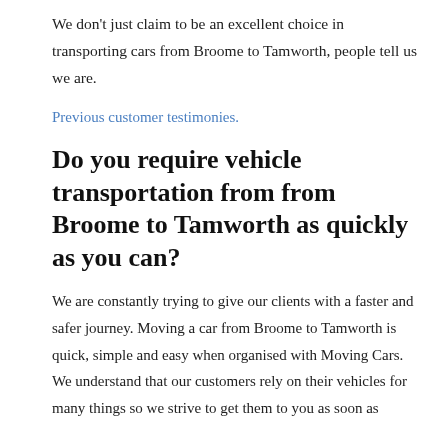We don't just claim to be an excellent choice in transporting cars from Broome to Tamworth, people tell us we are.
Previous customer testimonies.
Do you require vehicle transportation from from Broome to Tamworth as quickly as you can?
We are constantly trying to give our clients with a faster and safer journey. Moving a car from Broome to Tamworth is quick, simple and easy when organised with Moving Cars. We understand that our customers rely on their vehicles for many things so we strive to get them to you as soon as